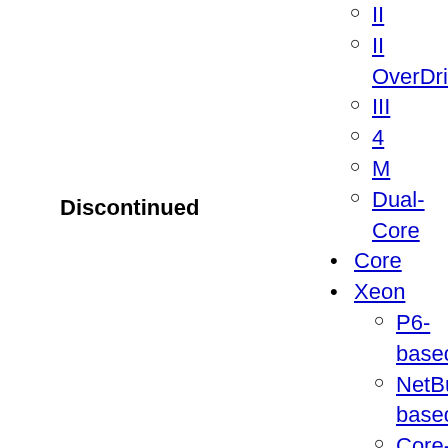Discontinued
II
II OverDrive
III
4
M
Dual-Core
Core
Xeon
P6-based
NetBurst-based
Core-based
Quark
Tolapai
Atom
SoC
CE
Celeron
D
Dual-Core
Pentium
4